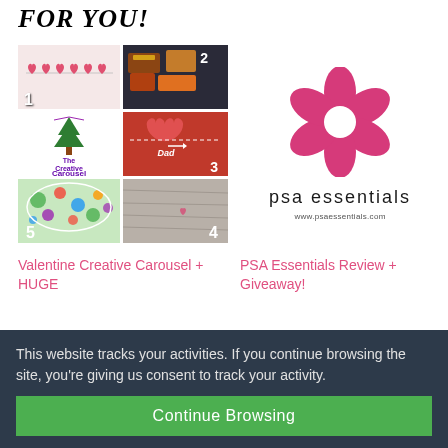FOR YOU!
[Figure (photo): Collage of 5 Valentine creative images numbered 1-5: heart garland, candy/chocolates, The Creative Carousel logo, red heart with Dad text, and colorful fabric item]
[Figure (logo): PSA Essentials logo: pink flower with white center above text 'psa essentials' and url www.psaessentials.com]
Valentine Creative Carousel + HUGE
PSA Essentials Review + Giveaway!
This website tracks your activities. If you continue browsing the site, you're giving us consent to track your activity.
Continue Browsing